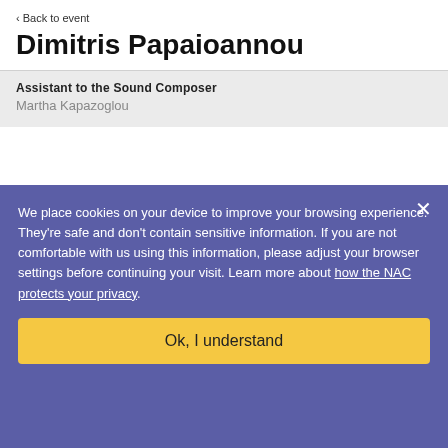‹ Back to event
Dimitris Papaioannou
Assistant to the Sound Composer
Martha Kapazoglou
We place cookies on your device to improve your browsing experience. They're safe and don't contain sensitive information. If you are not comfortable with us using this information, please adjust your browser settings before continuing your visit. Learn more about how the NAC protects your privacy.
Ok, I understand